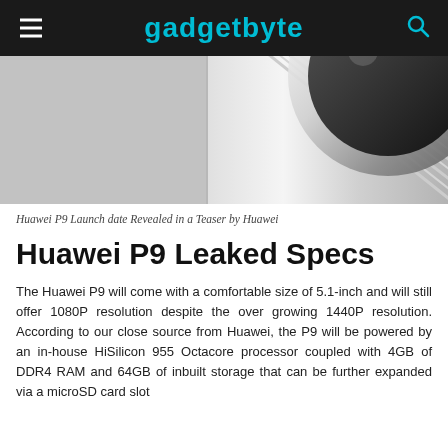gadgetbyte
[Figure (photo): Two-panel image: left panel shows a plain silver/gray background, right panel shows a close-up of a Huawei P9 smartphone camera lens with metallic ribbed texture and circular chrome ring.]
Huawei P9 Launch date Revealed in a Teaser by Huawei
Huawei P9 Leaked Specs
The Huawei P9 will come with a comfortable size of 5.1-inch and will still offer 1080P resolution despite the over growing 1440P resolution. According to our close source from Huawei, the P9 will be powered by an in-house HiSilicon 955 Octacore processor coupled with 4GB of DDR4 RAM and 64GB of inbuilt storage that can be further expanded via a microSD card slot